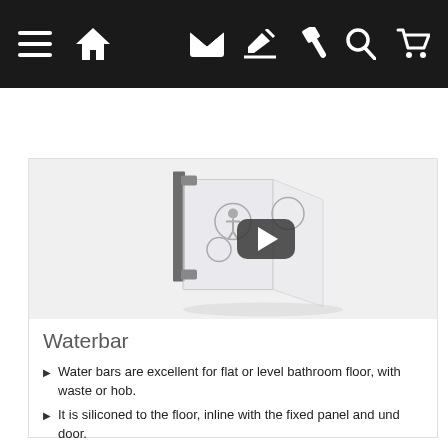Navigation bar with menu, home, email, edit, hammer, search, and cart icons
[Figure (photo): 3D rendered image of a glass shower panel and door with waterbar component, with a video play button overlay indicating a product video]
Waterbar
Water bars are excellent for flat or level bathroom floor, with waste or hob.
It is siliconed to the floor, inline with the fixed panel and under door.